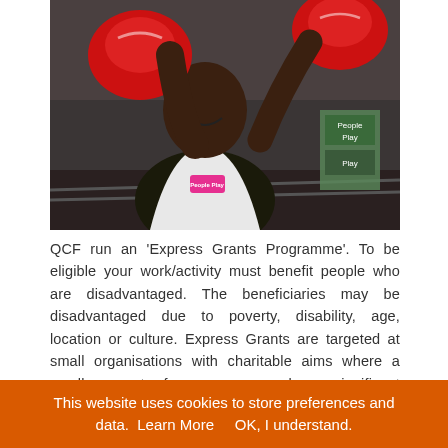[Figure (photo): A woman in boxing gloves (red) wearing a 'People Play' t-shirt, smiling and posing in a boxing gym. She is punching toward the camera with both fists raised.]
QCF run an 'Express Grants Programme'. To be eligible your work/activity must benefit people who are disadvantaged. The beneficiaries may be disadvantaged due to poverty, disability, age, location or culture. Express Grants are targeted at small organisations with charitable aims where a small amount of money can make a significant difference. Applicants must be based and working in Bristol, Bath & North East Somerset, North Somerset or South Gloucestershire.
This website uses cookies to store preferences and data.  Learn More     OK, I understand.